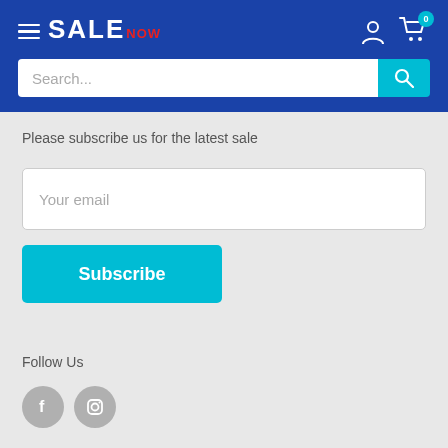SALE NOW — navigation header with search bar
Please subscribe us for the latest sale
Your email
Subscribe
Follow Us